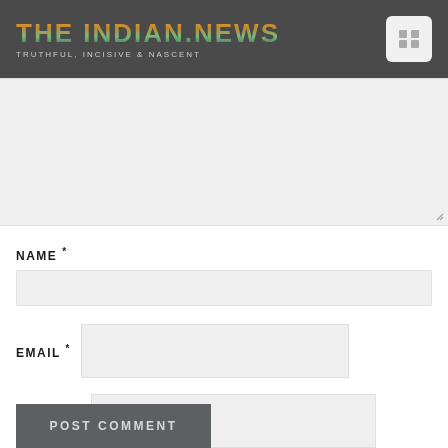THE INDIAN.NEWS — TRUTHFUL, INCISIVE & NASCENT
[Figure (screenshot): Large textarea form field with light gray background and resize handle in bottom right corner]
NAME *
[Figure (screenshot): Name text input field, light gray background]
EMAIL *
[Figure (screenshot): Email text input field, light gray background]
WEBSITE
[Figure (screenshot): Website text input field, light gray background]
POST COMMENT